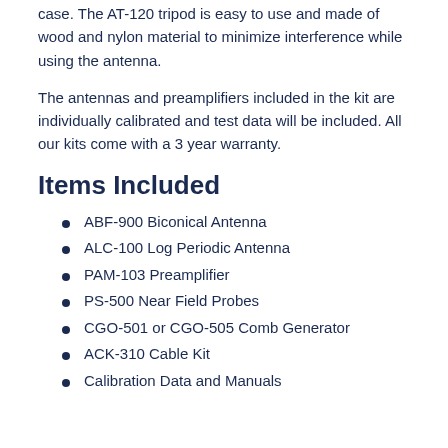case. The AT-120 tripod is easy to use and made of wood and nylon material to minimize interference while using the antenna.
The antennas and preamplifiers included in the kit are individually calibrated and test data will be included. All our kits come with a 3 year warranty.
Items Included
ABF-900 Biconical Antenna
ALC-100 Log Periodic Antenna
PAM-103 Preamplifier
PS-500 Near Field Probes
CGO-501 or CGO-505 Comb Generator
ACK-310 Cable Kit
Calibration Data and Manuals